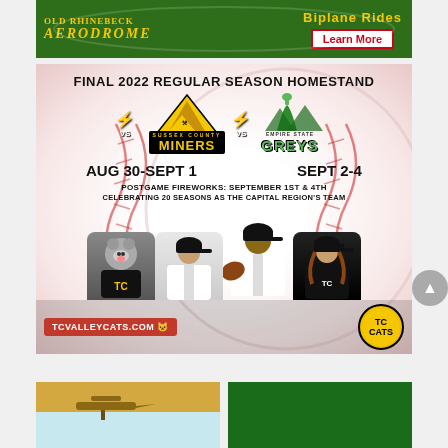[Figure (photo): Old Rhinebeck Aerodrome advertisement banner with green background, yellow text 'OLD RHINEBECK AERODROME', 'Biplane Rides' in yellow, and a 'Learn More' button with red border on white background]
[Figure (photo): Tri-City ValleyCats baseball advertisement for Final 2022 Regular Season Homestand showing Sussex County Miners (Aug 30-Sept 1) vs Empire State Greys (Sept 2-4), with postgame fireworks Sept 1st & 4th, celebrating 20 seasons as Capital Region's team, website tcvalleycats.com, featuring team mascot and players]
[Figure (photo): Partial image at bottom left, appears to be an outdoor/aviation scene with sandy/tan tones]
[Figure (photo): Partial image at bottom right with dark green background]